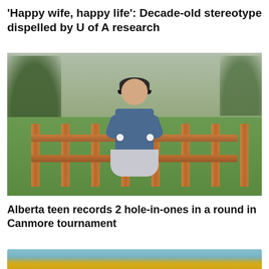'Happy wife, happy life': Decade-old stereotype dispelled by U of A research
[Figure (photo): A teenage girl in a blue polo shirt, grey skirt, and dark cap stands smiling on a wooden deck/fence area at a golf course, holding two white golf balls, one in each hand. Green trees and grass visible in the background.]
Alberta teen records 2 hole-in-ones in a round in Canmore tournament
[Figure (photo): Partial view of yellow flowers against a blue/teal background, cropped at bottom of page.]